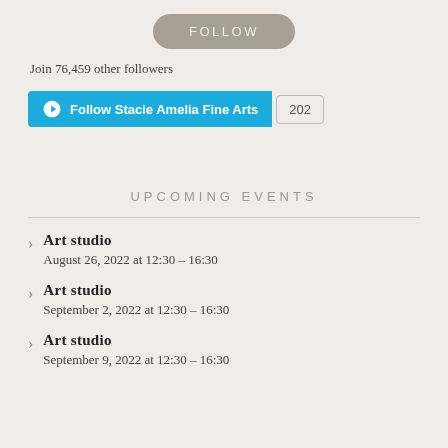[Figure (other): FOLLOW button styled as a rounded pill-shaped grey button]
Join 76,459 other followers
[Figure (other): WordPress Follow button for Stacie Amella Fine Arts with count badge showing 202]
UPCOMING EVENTS
Art studio
August 26, 2022 at 12:30 – 16:30
Art studio
September 2, 2022 at 12:30 – 16:30
Art studio
September 9, 2022 at 12:30 – 16:30